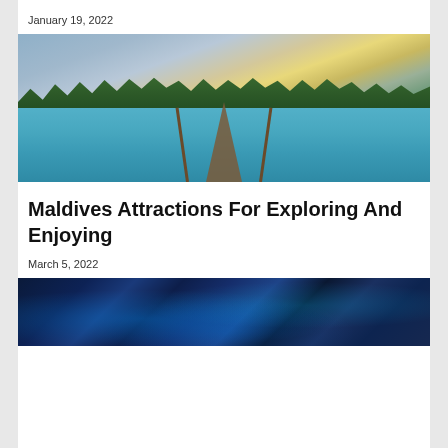January 19, 2022
[Figure (photo): A wooden dock/pier extending over turquoise tropical water toward a lush green island with palm trees under a dramatic sunset sky with clouds]
Maldives Attractions For Exploring And Enjoying
March 5, 2022
[Figure (photo): Aerial night view of a coastal city illuminated with blue and white lights]